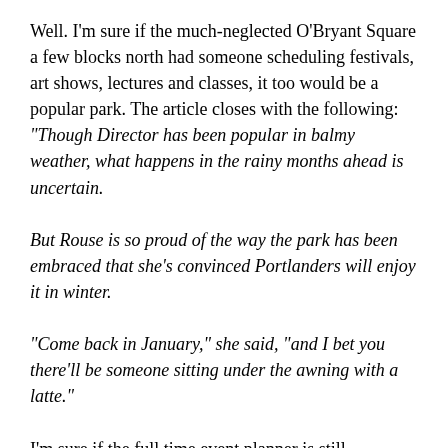Well. I'm sure if the much-neglected O'Bryant Square a few blocks north had someone scheduling festivals, art shows, lectures and classes, it too would be a popular park. The article closes with the following:
"Though Director has been popular in balmy weather, what happens in the rainy months ahead is uncertain.

But Rouse is so proud of the way the park has been embraced that she's convinced Portlanders will enjoy it in winter.

"Come back in January," she said, "and I bet you there'll be someone sitting under the awning with a latte."

I'm sure if the full time event planner is still